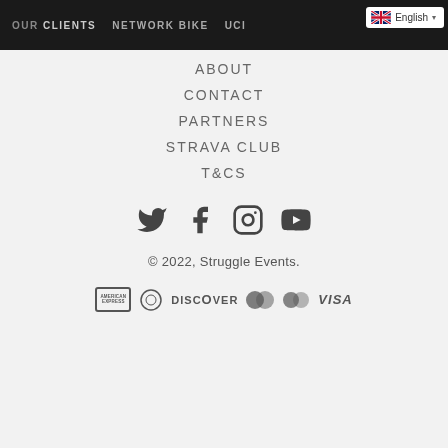OUR CLIENTS   NETWORK BIKE   UCI   English
ABOUT
CONTACT
PARTNERS
STRAVA CLUB
T&CS
[Figure (illustration): Social media icons: Twitter, Facebook, Instagram, YouTube]
© 2022, Struggle Events.
[Figure (illustration): Payment method icons: American Express, Diners Club, Discover, Maestro, Mastercard, Visa]